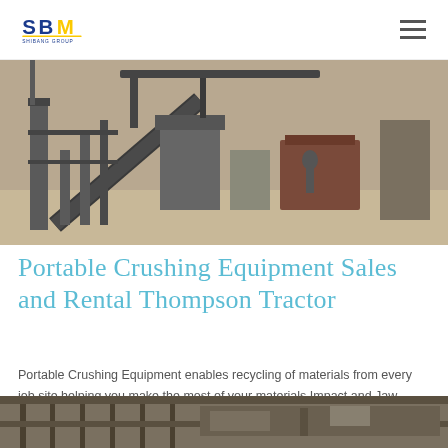SBM Shibang Group logo and navigation
[Figure (photo): Industrial crushing equipment facility interior showing conveyor belts, machinery, and structural steel framework]
Portable Crushing Equipment Sales and Rental Thompson Tractor
Portable Crushing Equipment enables recycling of materials from every job site helping you make the most of your materials Impact and Jaw crushers available
[Figure (photo): Close-up of industrial crushing equipment machinery, partially visible at bottom of page]